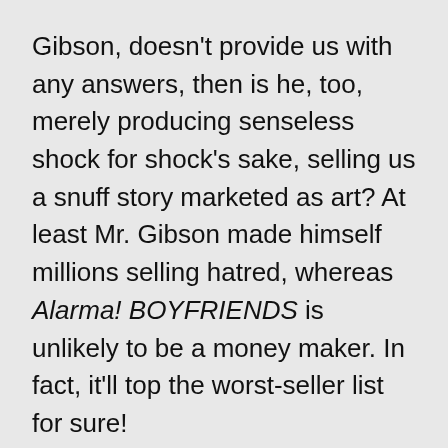Gibson, doesn't provide us with any answers, then is he, too, merely producing senseless shock for shock's sake, selling us a snuff story marketed as art? At least Mr. Gibson made himself millions selling hatred, whereas Alarma! BOYFRIENDS is unlikely to be a money maker. In fact, it'll top the worst-seller list for sure!
I asked Mr. Melgaard whether his inability to provide his readers with any answers or solutions to the dilemma of senseless violence